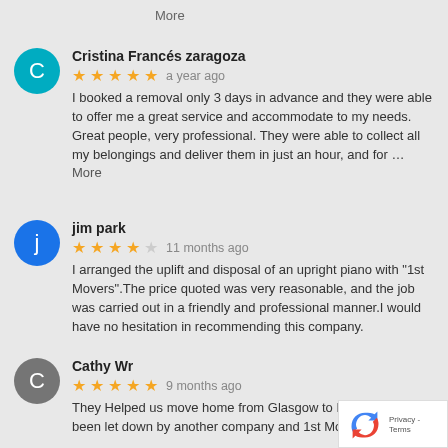More
Cristina Francés zaragoza
★★★★★  a year ago
I booked a removal only 3 days in advance and they were able to offer me a great service and accommodate to my needs. Great people, very professional. They were able to collect all my belongings and deliver them in just an hour, and for … More
jim park
★★★★☆  11 months ago
I arranged the uplift and disposal of an upright piano with "1st Movers".The price quoted was very reasonable, and the job was carried out in a friendly and professional manner.I would have no hesitation in recommending this company.
Cathy Wr
★★★★★  9 months ago
They Helped us move home from Glasgow to London. We had been let down by another company and 1st Movers